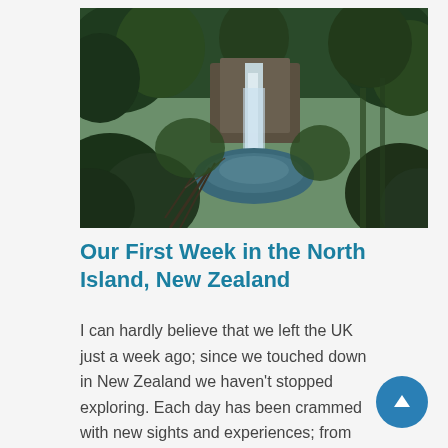[Figure (photo): A waterfall surrounded by dense green forest and trees, with a dark rocky cliff face and a pool of water at the base. The scene appears to be in New Zealand native bush.]
Our First Week in the North Island, New Zealand
I can hardly believe that we left the UK just a week ago; since we touched down in New Zealand we haven't stopped exploring. Each day has been crammed with new sights and experiences; from night kayaking and